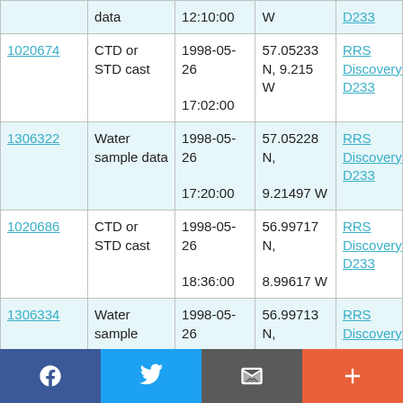| ID | Type | Date/Time | Location | Cruise |
| --- | --- | --- | --- | --- |
| (partial) | data | 12:10:00 | W | D233 |
| 1020674 | CTD or STD cast | 1998-05-26 17:02:00 | 57.05233 N, 9.215 W | RRS Discovery D233 |
| 1306322 | Water sample data | 1998-05-26 17:20:00 | 57.05228 N, 9.21497 W | RRS Discovery D233 |
| 1020686 | CTD or STD cast | 1998-05-26 18:36:00 | 56.99717 N, 8.99617 W | RRS Discovery D233 |
| 1306334 | Water sample | 1998-05-26 | 56.99713 N, | RRS Discovery |